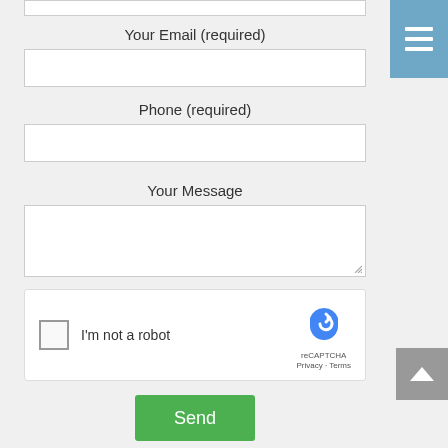[Figure (screenshot): Partial white input box at the top of the page, cut off]
Your Email (required)
[Figure (screenshot): White input field for email]
Phone (required)
[Figure (screenshot): White input field for phone]
Your Message
[Figure (screenshot): White textarea for message with resize handle]
[Figure (screenshot): reCAPTCHA widget with checkbox labeled I'm not a robot, reCAPTCHA logo, Privacy and Terms links]
[Figure (screenshot): Green Send button]
[Figure (screenshot): Blue menu button top right with three horizontal white lines]
[Figure (screenshot): Grey back-to-top button on right side with upward chevron]